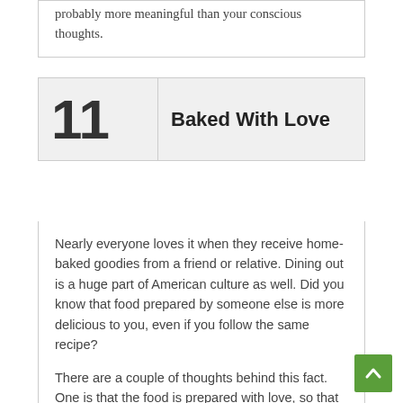probably more meaningful than your conscious thoughts.
11  Baked With Love
Nearly everyone loves it when they receive home-baked goodies from a friend or relative. Dining out is a huge part of American culture as well. Did you know that food prepared by someone else is more delicious to you, even if you follow the same recipe?
There are a couple of thoughts behind this fact. One is that the food is prepared with love, so that makes it taste better to you. Another theory is that while you are cooking, you are smelling and often tasting as you go so that by the time you are done cooking, you're a bit tired of being